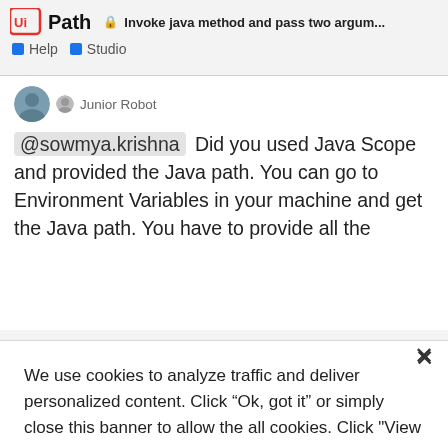UiPath | Invoke java method and pass two argum... | Help | Studio
Junior Robot
@sowmya.krishna Did you used Java Scope and provided the Java path. You can go to Environment Variables in your machine and get the Java path. You have to provide all the
We use cookies to analyze traffic and deliver personalized content. Click “Ok, got it” or simply close this banner to allow the all cookies. Click "View cookie settings" to allow certain categories of cookies. Update your cookie settings any time from our Cookie Policy.
Ok, got it
View cookie settings